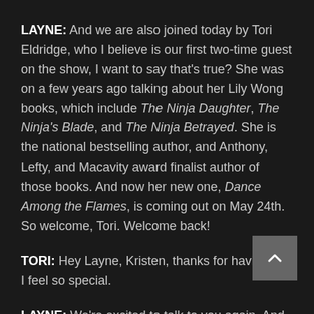LAYNE: And we are also joined today by Tori Eldridge, who I believe is our first two-time guest on the show, I want to say that's true? She was on a few years ago talking about her Lily Wong books, which include The Ninja Daughter, The Ninja's Blade, and The Ninja Betrayed. She is the national bestselling author, and Anthony, Lefty, and Macavity award finalist author of those books. And now her new one, Dance Among the Flames, is coming out on May 24th. So welcome, Tori. Welcome back!
TORI: Hey Layne, Kristen, thanks for having me. I feel so special.
LAYNE: We're excited to talk to you again. And we were trying to remember, we think just Wendy interviewed you